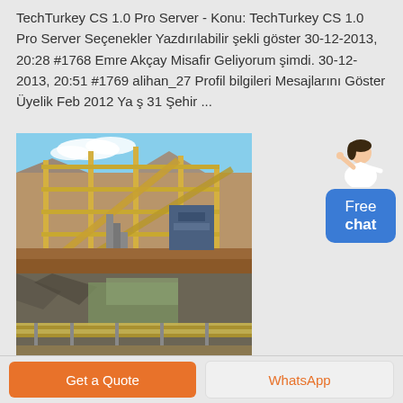TechTurkey CS 1.0 Pro Server - Konu: TechTurkey CS 1.0 Pro Server Seçenekler Yazdırılabilir şekli göster 30-12-2013, 20:28 #1768 Emre Akçay Misafir Geliyorum şimdi. 30-12-2013, 20:51 #1769 alihan_27 Profil bilgileri Mesajlarını Göster Üyelik Feb 2012 Ya ş 31 Şehir ...
[Figure (photo): Industrial mining/processing facility with large yellow scaffolding structures and conveyor belts, set in an arid landscape. Two photos stacked: top shows elevated processing equipment, bottom shows a lower angle view of conveyor belt infrastructure.]
[Figure (illustration): Chat widget: a woman figure gesturing, above a blue rounded rectangle button reading 'Free chat']
Get a Quote
WhatsApp